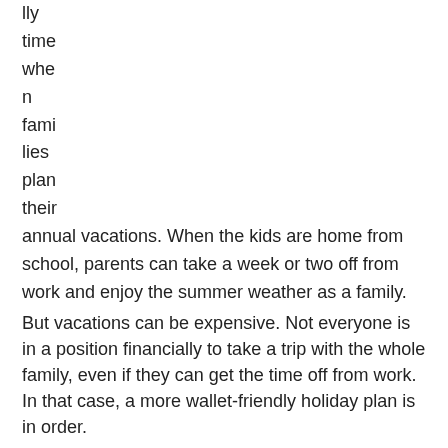lly
time
whe
n
fami
lies
plan
their
annual vacations. When the kids are home from school, parents can take a week or two off from work and enjoy the summer weather as a family.
But vacations can be expensive. Not everyone is in a position financially to take a trip with the whole family, even if they can get the time off from work. In that case, a more wallet-friendly holiday plan is in order.